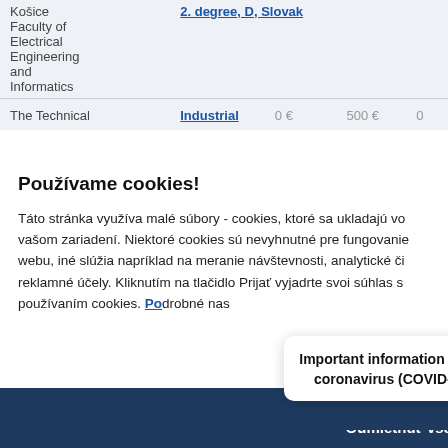| Institution | Programme | Fee1 | Fee2 | Fee3 |
| --- | --- | --- | --- | --- |
| Košice Faculty of Electrical Engineering and Informatics | 2. degree, D, Slovak |  |  |  |
| The Technical | Industrial | 0 € | 500 € | 0 |
Používame cookies!
Táto stránka využíva malé súbory - cookies, ktoré sa ukladajú vo vašom zariadení. Niektoré cookies sú nevyhnutné pre fungovanie webu, iné slúžia napríklad na meranie návštevnosti, analytické či reklamné účely. Kliknutím na tlačidlo Prijať vyjadrte svoi súhlas s používaním cookies. Podrobné nas
Important information about coronavirus (COVID-19)
Prijať všetko
Odmietnuť všetko